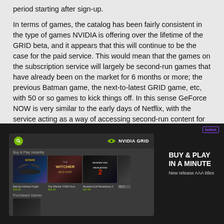period starting after sign-up.
In terms of games, the catalog has been fairly consistent in the type of games NVIDIA is offering over the lifetime of the GRID beta, and it appears that this will continue to be the case for the paid service. This would mean that the games on the subscription service will largely be second-run games that have already been on the market for 6 months or more; the previous Batman game, the next-to-latest GRID game, etc, with 50 or so games to kick things off. In this sense GeForce NOW is very similar to the early days of Netflix, with the service acting as a way of accessing second-run content for cheap.
[Figure (screenshot): Screenshot of NVIDIA GRID interface showing game titles including Batman Arkham Knight, The Witcher 3 Wild Hunt, and Resident Evil Revelations 2, with a 'Buy & Play in a Minute' promotional panel. A Twitch logo watermark appears in the top right corner.]